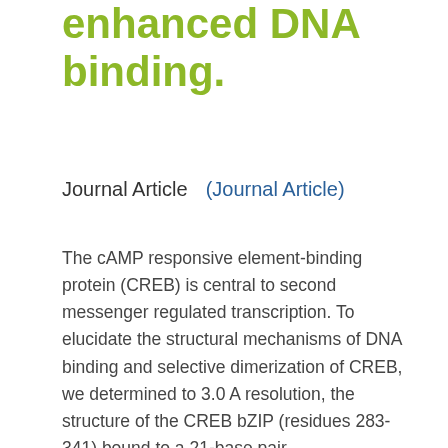enhanced DNA binding.
Journal Article    (Journal Article)
The cAMP responsive element-binding protein (CREB) is central to second messenger regulated transcription. To elucidate the structural mechanisms of DNA binding and selective dimerization of CREB, we determined to 3.0 A resolution, the structure of the CREB bZIP (residues 283-341) bound to a 21-base pair deoxynucleotide that encompasses the canonical 8-base pair somatostatin cAMP response element (SSCRE). The CREB dimer is stabilized in part by ionic interactions from Arg(314) to Glu(319') and Glu(328) to Lys(333')